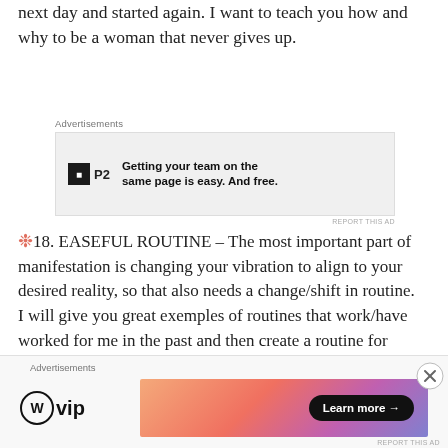next day and started again. I want to teach you how and why to be a woman that never gives up.
[Figure (other): Advertisement banner for P2 – 'Getting your team on the same page is easy. And free.']
🌸 18. EASEFUL ROUTINE – The most important part of manifestation is changing your vibration to align to your desired reality, so that also needs a change/shift in routine. I will give you great exemples of routines that work/have worked for me in the past and then create a routine for each one of you that you can follow.
🌸 19. FEMININE RITUALS – Get in touch with your
[Figure (other): Advertisement banner for WordPress VIP with 'Learn more' button and colorful gradient background.]